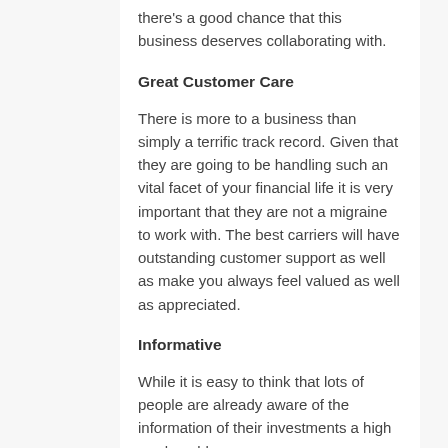there's a good chance that this business deserves collaborating with.
Great Customer Care
There is more to a business than simply a terrific track record. Given that they are going to be handling such an vital facet of your financial life it is very important that they are not a migraine to work with. The best carriers will have outstanding customer support as well as make you always feel valued as well as appreciated.
Informative
While it is easy to think that lots of people are already aware of the information of their investments a high grade gold